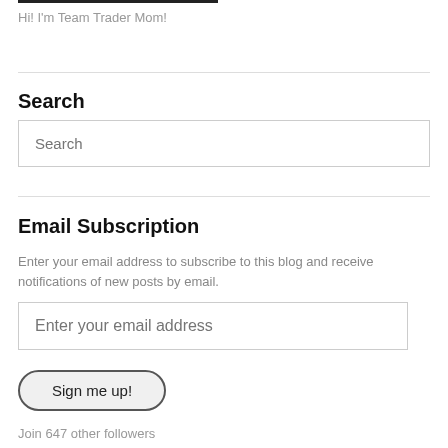Hi! I'm Team Trader Mom!
Search
Search
Email Subscription
Enter your email address to subscribe to this blog and receive notifications of new posts by email.
Enter your email address
Sign me up!
Join 647 other followers